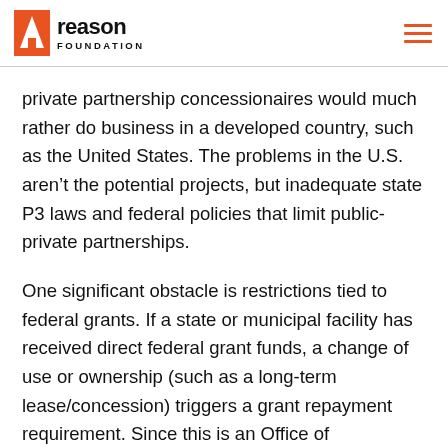Reason Foundation
private partnership concessionaires would much rather do business in a developed country, such as the United States. The problems in the U.S. aren't the potential projects, but inadequate state P3 laws and federal policies that limit public-private partnerships.
One significant obstacle is restrictions tied to federal grants. If a state or municipal facility has received direct federal grant funds, a change of use or ownership (such as a long-term lease/concession) triggers a grant repayment requirement. Since this is an Office of Management and Budget rule, it could be changed by the stroke